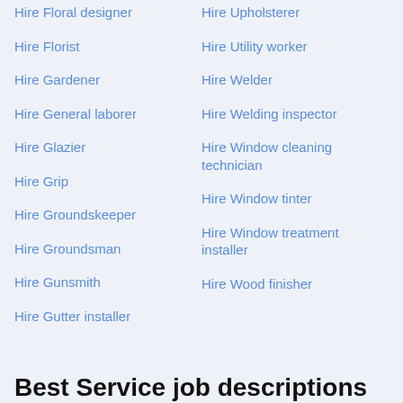Hire Floral designer
Hire Florist
Hire Gardener
Hire General laborer
Hire Glazier
Hire Grip
Hire Groundskeeper
Hire Groundsman
Hire Gunsmith
Hire Gutter installer
Hire Upholsterer
Hire Utility worker
Hire Welder
Hire Welding inspector
Hire Window cleaning technician
Hire Window tinter
Hire Window treatment installer
Hire Wood finisher
Best Service job descriptions